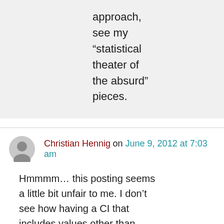approach, see my “statistical theater of the absurd” pieces.
Christian Hennig on June 9, 2012 at 7:03 am
Hmmmm… this posting seems a little bit unfair to me. I don’t see how having a CI that includes values other than \mu<0.4 should encourage